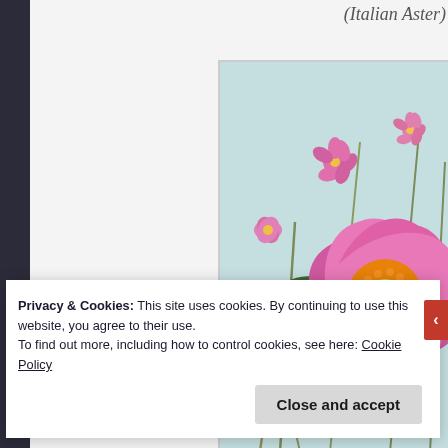(Italian Aster)
[Figure (photo): Close-up photo of pink anemone flowers (Italian Aster) with orange and yellow centers, green foliage, soft light background. Multiple flowers visible with a large bloom in foreground right.]
Privacy & Cookies: This site uses cookies. By continuing to use this website, you agree to their use.
To find out more, including how to control cookies, see here: Cookie Policy
Close and accept